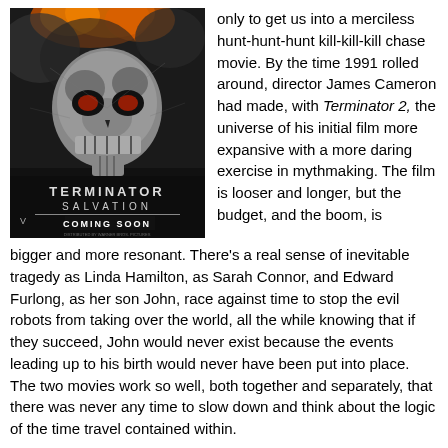[Figure (photo): Movie poster for Terminator Salvation showing a metallic skull with fire and explosions, text reads TERMINATOR SALVATION COMING SOON]
only to get us into a merciless hunt-hunt-hunt kill-kill-kill chase movie. By the time 1991 rolled around, director James Cameron had made, with Terminator 2, the universe of his initial film more expansive with a more daring exercise in mythmaking. The film is looser and longer, but the budget, and the boom, is bigger and more resonant. There’s a real sense of inevitable tragedy as Linda Hamilton, as Sarah Connor, and Edward Furlong, as her son John, race against time to stop the evil robots from taking over the world, all the while knowing that if they succeed, John would never exist because the events leading up to his birth would never have been put into place. The two movies work so well, both together and separately, that there was never any time to slow down and think about the logic of the time travel contained within.